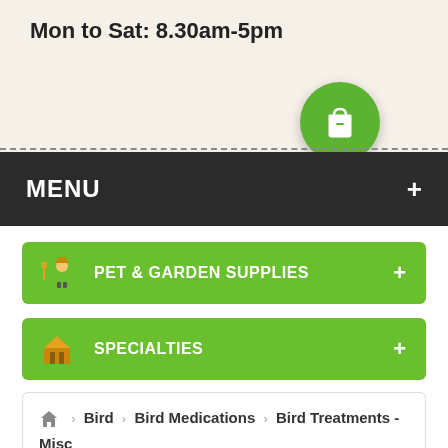Mon to Sat: 8.30am-5pm
[Figure (illustration): Green circle with a white shopping bag icon]
MENU
PET & GARDEN SUPPLIES
SPECIALTIES
PETS FOR SALE
Bird > Bird Medications > Bird Treatments - Misc